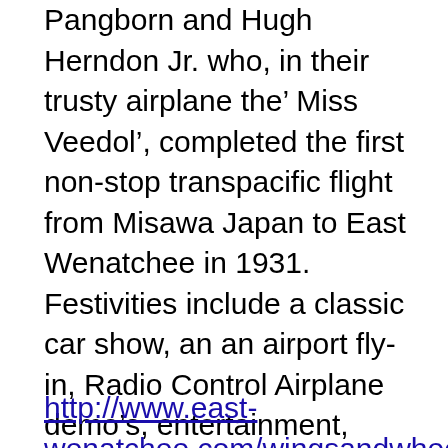Pangborn and Hugh Herndon Jr. who, in their trusty airplane the' Miss Veedol', completed the first non-stop transpacific flight from Misawa Japan to East Wenatchee in 1931. Festivities include a classic car show, an an airport fly-in, Radio Control Airplane demo's, entertainment, “Nitro Dash for Cash” radio control car meet. Free kids activities, carnival, vendors, poker walk,Swap Meet, wine tasting and a food fair. Trophies go to the winners of the car show with a drawing for fabulous Grand Prizes. Held annually the first weekend in October. For more information call 509-886-6108 or visit the web site.
http://www.east-wenatchee.com/wingsandwheels.html